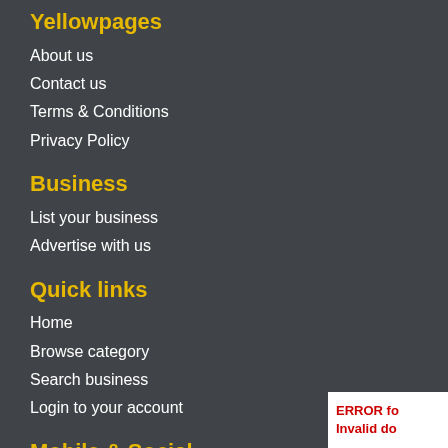Yellowpages
About us
Contact us
Terms & Conditions
Privacy Policy
Business
List your business
Advertise with us
Quick links
Home
Browse category
Search business
Login to your account
Mobile & Social
[Figure (other): Three Facebook social media icons in a row]
ERROR for Invalid do